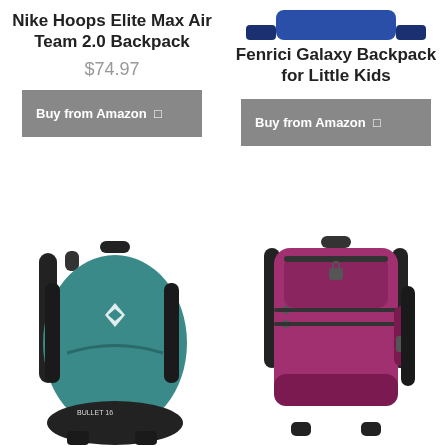Nike Hoops Elite Max Air Team 2.0 Backpack
$74.97
Buy from Amazon ↗
Fenrici Galaxy Backpack for Little Kids
Buy from Amazon ↗
[Figure (photo): Teal/dark blue Black Diamond backpack]
[Figure (photo): Magenta/pink laptop backpack with multiple compartments]